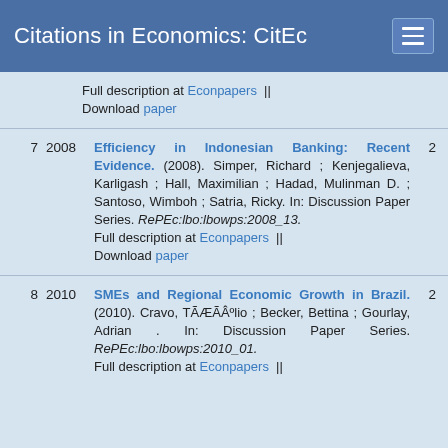Citations in Economics: CitEc
Full description at Econpapers || Download paper
7 2008 Efficiency in Indonesian Banking: Recent Evidence. (2008). Simper, Richard ; Kenjegalieva, Karligash ; Hall, Maximilian ; Hadad, Mulinman D. ; Santoso, Wimboh ; Satria, Ricky. In: Discussion Paper Series. RePEc:lbo:lbowps:2008_13. Full description at Econpapers || Download paper 2
8 2010 SMEs and Regional Economic Growth in Brazil. (2010). Cravo, TÃÆÃÂºlio ; Becker, Bettina ; Gourlay, Adrian . In: Discussion Paper Series. RePEc:lbo:lbowps:2010_01. Full description at Econpapers || 2